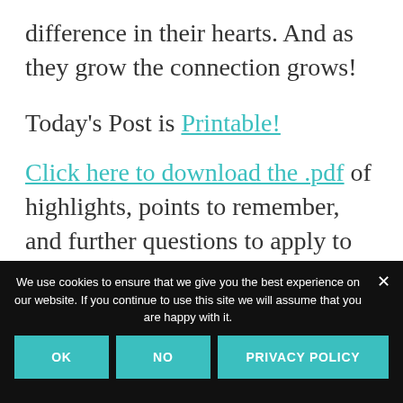difference in their hearts. And as they grow the connection grows!
Today's Post is Printable!
Click here to download the .pdf of highlights, points to remember, and further questions to apply to your parenting.
We use cookies to ensure that we give you the best experience on our website. If you continue to use this site we will assume that you are happy with it.